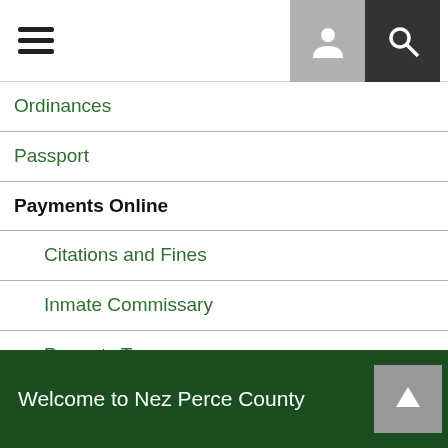Navigation menu header with hamburger icon, user icon, and search icon
Ordinances
Passport
Payments Online
Citations and Fines
Inmate Commissary
Property Taxes
Permits
Building
Road
Probation
Victim and Witness Services
Welcome to Nez Perce County